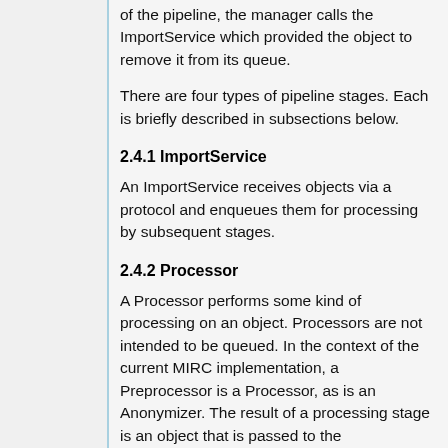of the pipeline, the manager calls the ImportService which provided the object to remove it from its queue.
There are four types of pipeline stages. Each is briefly described in subsections below.
2.4.1 ImportService
An ImportService receives objects via a protocol and enqueues them for processing by subsequent stages.
2.4.2 Processor
A Processor performs some kind of processing on an object. Processors are not intended to be queued. In the context of the current MIRC implementation, a Preprocessor is a Processor, as is an Anonymizer. The result of a processing stage is an object that is passed to the